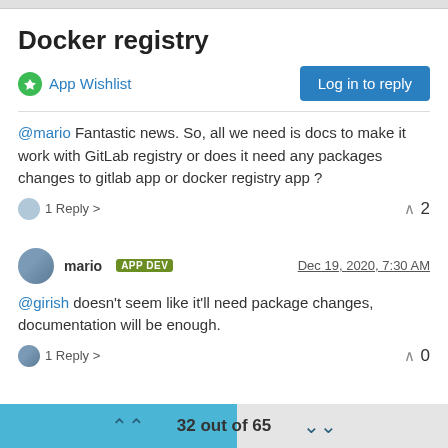Docker registry
App Wishlist
@mario Fantastic news. So, all we need is docs to make it work with GitLab registry or does it need any packages changes to gitlab app or docker registry app ?
1 Reply  2
mario APP DEV  Dec 19, 2020, 7:30 AM
@girish doesn't seem like it'll need package changes, documentation will be enough.
1 Reply  0
32 out of 65